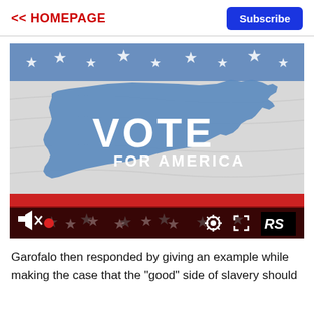<< HOMEPAGE
Subscribe
[Figure (screenshot): Video thumbnail showing a waving American flag with the text 'VOTE FOR AMERICA' overlaid on a blue silhouette of the United States map. The flag has red and white stripes and white stars on a blue field at the top. Video player controls are visible at the bottom including a mute icon, record button, settings gear icon, fullscreen icon, and RS logo.]
Garofalo then responded by giving an example while making the case that the "good" side of slavery should